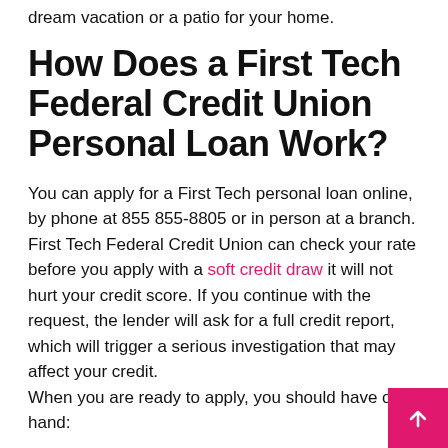dream vacation or a patio for your home.
How Does a First Tech Federal Credit Union Personal Loan Work?
You can apply for a First Tech personal loan online, by phone at 855 855-8805 or in person at a branch. First Tech Federal Credit Union can check your rate before you apply with a soft credit draw it will not hurt your credit score. If you continue with the request, the lender will ask for a full credit report, which will trigger a serious investigation that may affect your credit. When you are ready to apply, you should have on hand:
Your social security number.
Your driver's license or identity document.
Your contact details.